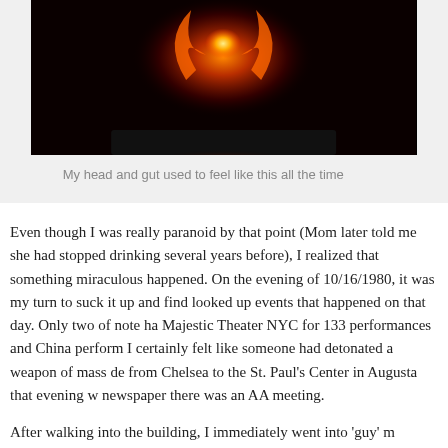[Figure (photo): Dark photo showing a glowing orange and yellow fiery light, resembling an explosion or flame, against a very dark background.]
My head and gut used to feel like this all the time
Even though I was really paranoid by that point (Mom later told me she had stopped drinking several years before), I realized that something miraculous had happened. On the evening of 10/16/1980, it was my turn to suck it up and find an AA meeting. I looked up events that happened on that day. Only two of note happened: Cats opened at Majestic Theater NYC for 133 performances and China performed a nuclear test. I certainly felt like someone had detonated a weapon of mass destruction. My drive from Chelsea to the St. Paul’s Center in Augusta that evening was guided by a local newspaper there was an AA meeting.
After walking into the building, I immediately went into ‘guy’ m